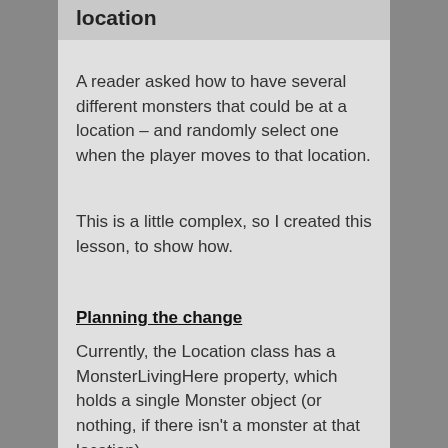location
A reader asked how to have several different monsters that could be at a location – and randomly select one when the player moves to that location.
This is a little complex, so I created this lesson, to show how.
Planning the change
Currently, the Location class has a MonsterLivingHere property, which holds a single Monster object (or nothing, if there isn't a monster at that location).